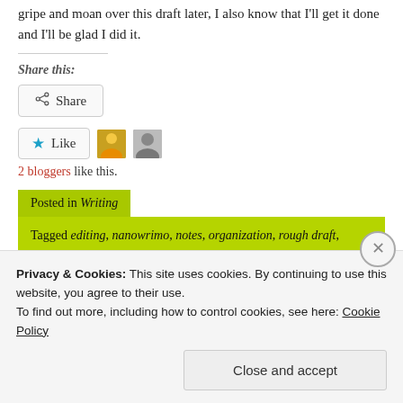gripe and moan over this draft later, I also know that I'll get it done and I'll be glad I did it.
Share this:
Share
Like
2 bloggers like this.
Posted in Writing
Tagged editing, nanowrimo, notes, organization, rough draft, story arc, structure
Privacy & Cookies: This site uses cookies. By continuing to use this website, you agree to their use.
To find out more, including how to control cookies, see here: Cookie Policy
Close and accept